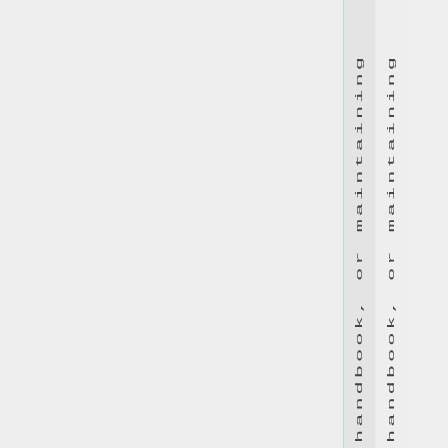[Figure (other): Page with large blank left area and two narrow right columns containing vertically-written text 'handbook, or maintaining' repeated twice, separated by a light blue vertical line.]
handbook, or maintaining
handbook, or maintaining